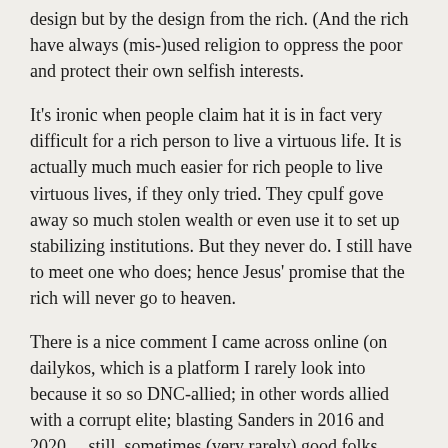design but by the design from the rich. (And the rich have always (mis-)used religion to oppress the poor and protect their own selfish interests.
It's ironic when people claim hat it is in fact very difficult for a rich person to live a virtuous life. It is actually much much easier for rich people to live virtuous lives, if they only tried. They cpulf gove away so much stolen wealth or even use it to set up stabilizing institutions. But they never do. I still have to meet one who does; hence Jesus' promise that the rich will never go to heaven.
There is a nice comment I came across online (on dailykos, which is a platform I rarely look into because it so so DNC-allied; in other words allied with a corrupt elite; blasting Sanders in 2016 and 2020… still, sometimes (very rarely) good folks show up there). Here is the quote:
Jesus was asked by a virtuous rich man what ELSE he could do